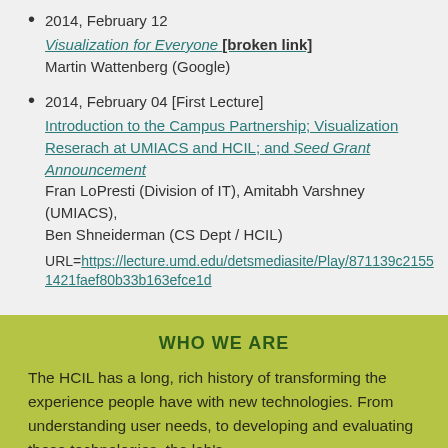2014, February 12
Visualization for Everyone [broken link]
Martin Wattenberg (Google)
2014, February 04 [First Lecture]
Introduction to the Campus Partnership; Visualization Reserach at UMIACS and HCIL; and Seed Grant Announcement
Fran LoPresti (Division of IT), Amitabh Varshney (UMIACS), Ben Shneiderman (CS Dept / HCIL)
URL=https://lecture.umd.edu/detsmediasite/Play/871139c21551421faef80b33b163efce1d
WHO WE ARE
The HCIL has a long, rich history of transforming the experience people have with new technologies. From understanding user needs, to developing and evaluating these technologies, the lab's